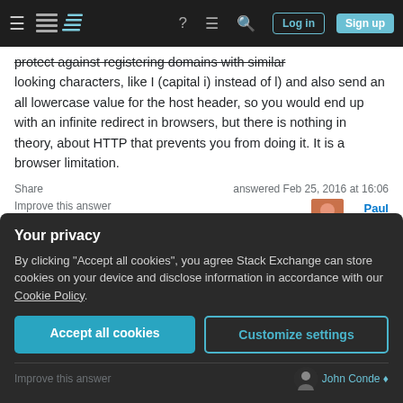Stack Exchange navigation bar with Log in and Sign up buttons
protect against registering domains with similar looking characters, like I (capital i) instead of l) and also send an all lowercase value for the host header, so you would end up with an infinite redirect in browsers, but there is nothing in theory, about HTTP that prevents you from doing it. It is a browser limitation.
Share | Improve this answer | Follow | Add a comment
answered Feb 25, 2016 at 16:06
Paul 159 ● 5
Your privacy
By clicking "Accept all cookies", you agree Stack Exchange can store cookies on your device and disclose information in accordance with our Cookie Policy.
Accept all cookies   Customize settings
Improve this answer | John Conde